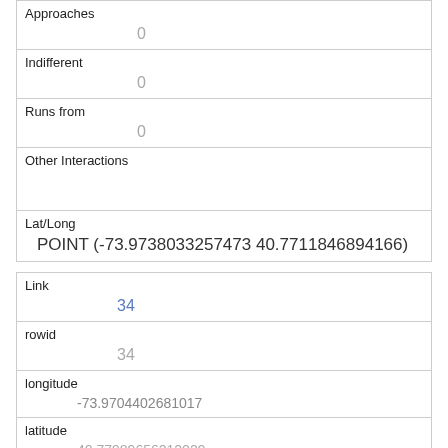| Approaches | 0 |
| Indifferent | 0 |
| Runs from | 0 |
| Other Interactions |  |
| Lat/Long | POINT (-73.9738033257473 40.7711846894166) |
| Link | 34 |
| rowid | 34 |
| longitude | -73.9704402681017 |
| latitude | 40.77989656212029 |
| Unique Squirrel ID | 17C-PM-1013-05 |